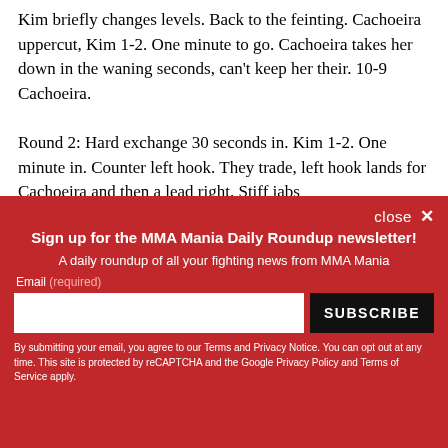Kim briefly changes levels. Back to the feinting. Cachoeira uppercut, Kim 1-2. One minute to go. Cachoeira takes her down in the waning seconds, can't keep her their. 10-9 Cachoeira.

Round 2: Hard exchange 30 seconds in. Kim 1-2. One minute in. Counter left hook. They trade, left hook lands for Cachoeira and then a lead right. Stiff jabs
[Figure (other): Newsletter signup overlay with red background. Title: 'Sign up for the MMA Mania Daily Roundup newsletter!'. Subtitle: 'A daily roundup of all your fighting news from MMA Mania'. Email input field and SUBSCRIBE button. Disclaimer text about Terms and Privacy Notice, reCAPTCHA, Google Privacy Policy and Terms of Service.]